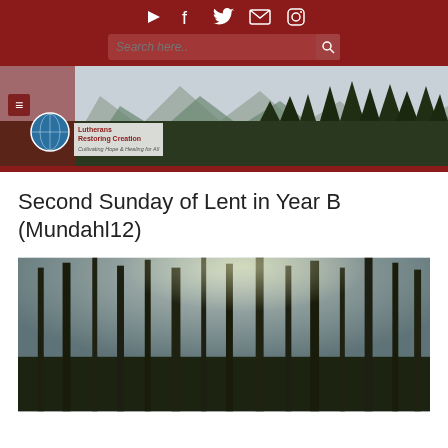Social icons: YouTube, Facebook, Twitter, Email, Instagram. Search bar with search button.
[Figure (photo): Lutherans Restoring Creation website banner with mountain and forest panorama, menu icon, globe logo, and organization name]
Second Sunday of Lent in Year B (Mundahl12)
[Figure (photo): Looking up through tall conifer trees toward a bright sky]